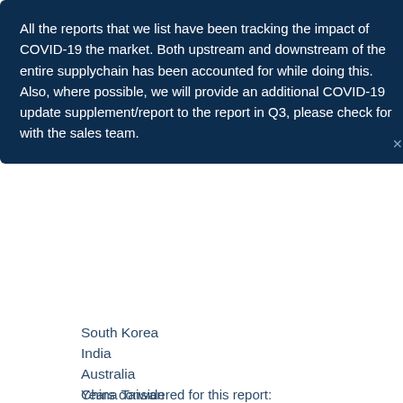All the reports that we list have been tracking the impact of COVID-19 the market. Both upstream and downstream of the entire supplychain has been accounted for while doing this. Also, where possible, we will provide an additional COVID-19 update supplement/report to the report in Q3, please check for with the sales team.
South Korea
India
Australia
China Taiwan
Indonesia
Thailand
Malaysia
Latin America
Mexico
Brazil
Argentina
Colombia
Years considered for this report:
Historical Years: 2018-2028